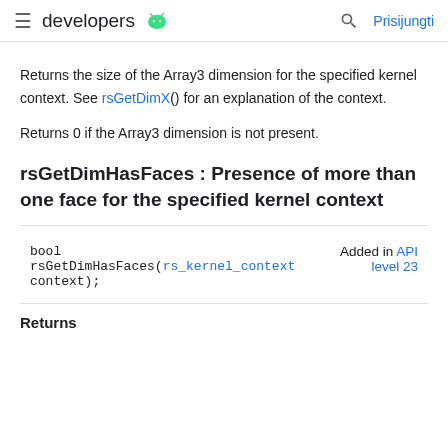≡ developers  Prisijungti
Returns the size of the Array3 dimension for the specified kernel context. See rsGetDimX() for an explanation of the context.
Returns 0 if the Array3 dimension is not present.
rsGetDimHasFaces : Presence of more than one face for the specified kernel context
| Signature | Added |
| --- | --- |
| bool rsGetDimHasFaces(rs_kernel_context context); | Added in API level 23 |
Returns